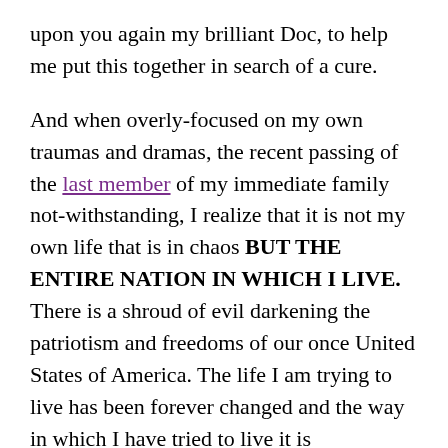upon you again my brilliant Doc, to help me put this together in search of a cure.
And when overly-focused on my own traumas and dramas, the recent passing of the last member of my immediate family not-withstanding, I realize that it is not my own life that is in chaos BUT THE ENTIRE NATION IN WHICH I LIVE. There is a shroud of evil darkening the patriotism and freedoms of our once United States of America. The life I am trying to live has been forever changed and the way in which I have tried to live it is increasingly changing. Political mayhem gave way to a pandemic and escalated into anarchy, the latter coming soon to a street near you. How then are we to live? We could say so much here yet I contend simply that you better depend upon Jesus now or forever hold your breath, your teeth, your head, your mind lest you